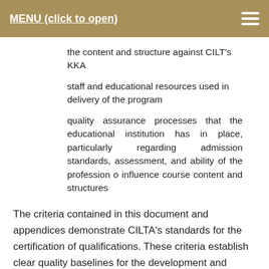MENU (click to open)
the content and structure against CILT's KKA
staff and educational resources used in delivery of the program
quality assurance processes that the educational institution has in place, particularly regarding admission standards, assessment, and ability of the profession o influence course content and structures
The criteria contained in this document and appendices demonstrate CILTA's standards for the certification of qualifications. These criteria establish clear quality baselines for the development and delivery of qualifications certified by CILTA.